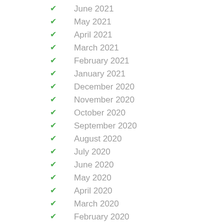June 2021
May 2021
April 2021
March 2021
February 2021
January 2021
December 2020
November 2020
October 2020
September 2020
August 2020
July 2020
June 2020
May 2020
April 2020
March 2020
February 2020
January 2020